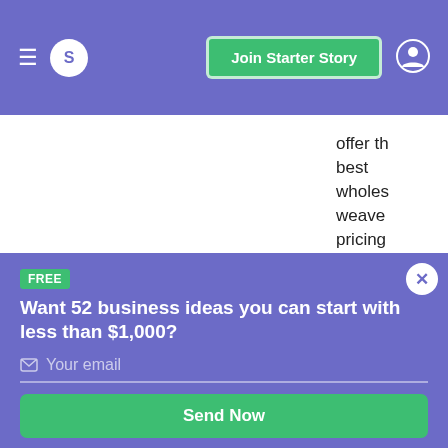S  Join Starter Story
offer th best wholes weave pricing sew-in
FREE
Want 52 business ideas you can start with less than $1,000?
Your email
Send Now